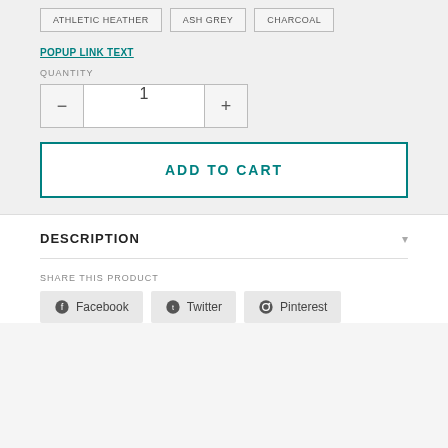ATHLETIC HEATHER
ASH GREY
CHARCOAL
POPUP LINK TEXT
QUANTITY
1
ADD TO CART
DESCRIPTION
SHARE THIS PRODUCT
Facebook
Twitter
Pinterest